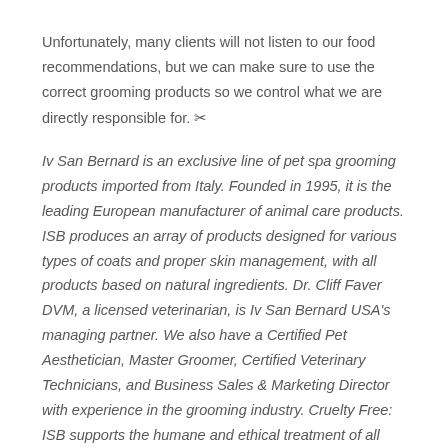Unfortunately, many clients will not listen to our food recommendations, but we can make sure to use the correct grooming products so we control what we are directly responsible for. ✂
Iv San Bernard is an exclusive line of pet spa grooming products imported from Italy. Founded in 1995, it is the leading European manufacturer of animal care products. ISB produces an array of products designed for various types of coats and proper skin management, with all products based on natural ingredients. Dr. Cliff Faver DVM, a licensed veterinarian, is Iv San Bernard USA's managing partner. We also have a Certified Pet Aesthetician, Master Groomer, Certified Veterinary Technicians, and Business Sales & Marketing Director with experience in the grooming industry. Cruelty Free: ISB supports the humane and ethical treatment of all animals.